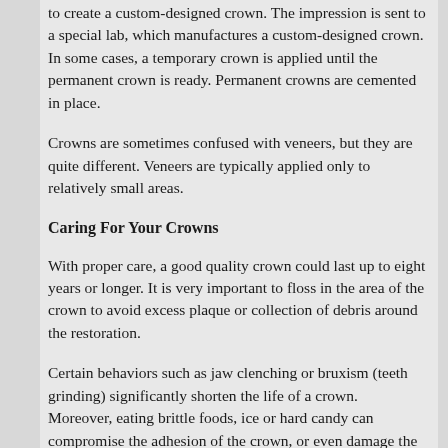to create a custom-designed crown. The impression is sent to a special lab, which manufactures a custom-designed crown. In some cases, a temporary crown is applied until the permanent crown is ready. Permanent crowns are cemented in place.
Crowns are sometimes confused with veneers, but they are quite different. Veneers are typically applied only to relatively small areas.
Caring For Your Crowns
With proper care, a good quality crown could last up to eight years or longer. It is very important to floss in the area of the crown to avoid excess plaque or collection of debris around the restoration.
Certain behaviors such as jaw clenching or bruxism (teeth grinding) significantly shorten the life of a crown. Moreover, eating brittle foods, ice or hard candy can compromise the adhesion of the crown, or even damage the crown.